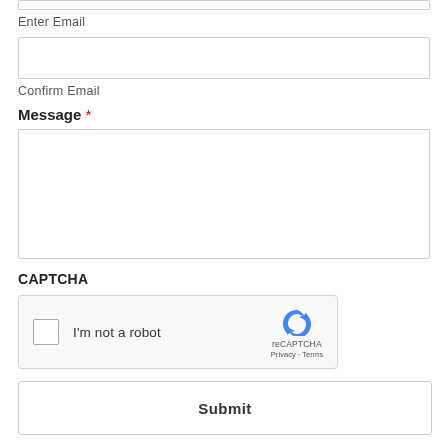Enter Email
Confirm Email
Message *
[Figure (screenshot): reCAPTCHA widget with checkbox labeled 'I'm not a robot', reCAPTCHA logo, Privacy and Terms links]
CAPTCHA
Submit